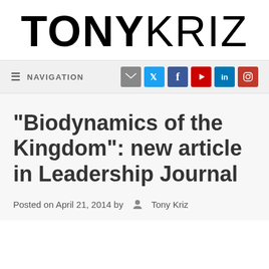TONYKRIZ
≡  NAVIGATION
"Biodynamics of the Kingdom": new article in Leadership Journal
Posted on April 21, 2014 by  Tony Kriz